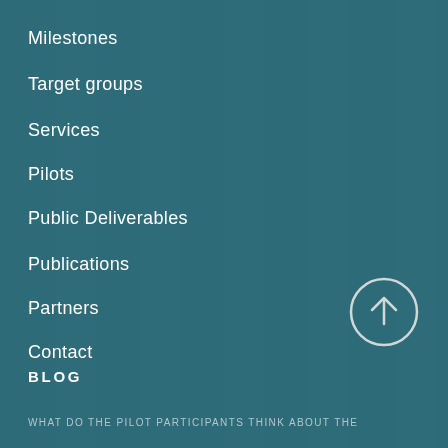Milestones
Target groups
Services
Pilots
Public Deliverables
Publications
Partners
Contact
[Figure (illustration): Circular up-arrow button (scroll to top icon) with white circle border and upward arrow]
BLOG
WHAT DO THE PILOT PARTICIPANTS THINK ABOUT THE